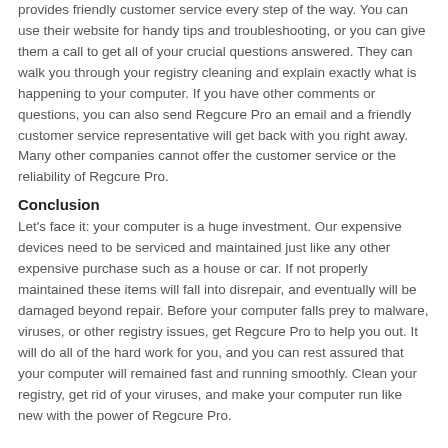provides friendly customer service every step of the way. You can use their website for handy tips and troubleshooting, or you can give them a call to get all of your crucial questions answered. They can walk you through your registry cleaning and explain exactly what is happening to your computer. If you have other comments or questions, you can also send Regcure Pro an email and a friendly customer service representative will get back with you right away. Many other companies cannot offer the customer service or the reliability of Regcure Pro.
Conclusion
Let's face it: your computer is a huge investment. Our expensive devices need to be serviced and maintained just like any other expensive purchase such as a house or car. If not properly maintained these items will fall into disrepair, and eventually will be damaged beyond repair. Before your computer falls prey to malware, viruses, or other registry issues, get Regcure Pro to help you out. It will do all of the hard work for you, and you can rest assured that your computer will remained fast and running smoothly. Clean your registry, get rid of your viruses, and make your computer run like new with the power of Regcure Pro.